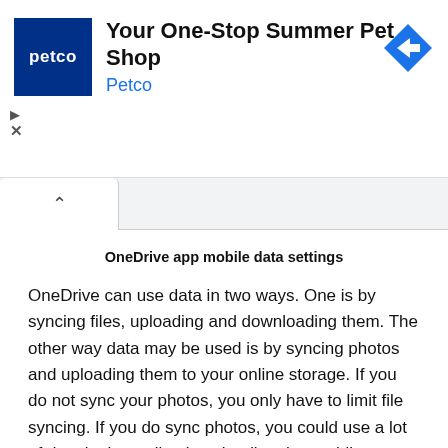[Figure (other): Petco advertisement banner: 'Your One-Stop Summer Pet Shop' with Petco logo and navigation icon]
[Figure (other): Browser tab bar with a caret/up-arrow tab indicator]
OneDrive app mobile data settings
OneDrive can use data in two ways. One is by syncing files, uploading and downloading them. The other way data may be used is by syncing photos and uploading them to your online storage. If you do not sync your photos, you only have to limit file syncing. If you do sync photos, you could use a lot of data by immediately uploading them while on mobile data. By setting photo uploads to Wi-Fi only, OneDrive will wait until you are on a Wi-Fi network to upload your snapshots.
This is just a small selection of the many apps you might